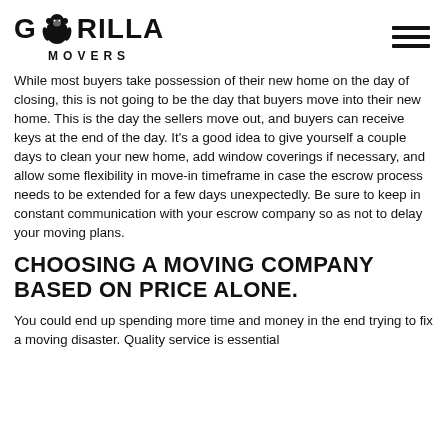[Figure (logo): Gorilla Movers logo with gorilla silhouette between letters G and O, with MOVERS text below]
While most buyers take possession of their new home on the day of closing, this is not going to be the day that buyers move into their new home. This is the day the sellers move out, and buyers can receive keys at the end of the day. It's a good idea to give yourself a couple days to clean your new home, add window coverings if necessary, and allow some flexibility in move-in timeframe in case the escrow process needs to be extended for a few days unexpectedly. Be sure to keep in constant communication with your escrow company so as not to delay your moving plans.
CHOOSING A MOVING COMPANY BASED ON PRICE ALONE.
You could end up spending more time and money in the end trying to fix a moving disaster. Quality service is essential